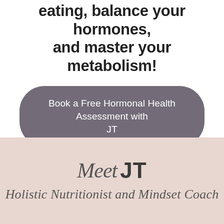eating, balance your hormones, and master your metabolism!
Book a Free Hormonal Health Assessment with JT
[Figure (other): Pink/mauve background section with 'Meet JT' heading in mixed script and bold sans-serif, and subtitle text below]
Holistic Nutritionist and Mindset Coach